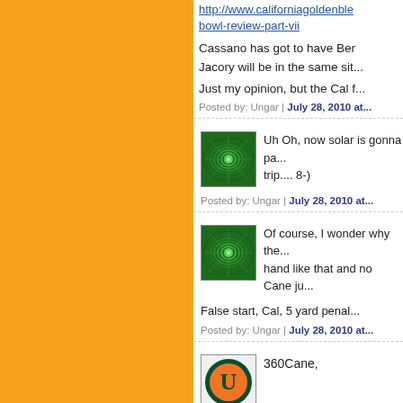http://www.californiagoldenblogs.com/...bowl-review-part-vii
Cassano has got to have Ber... Jacory will be in the same sit...
Just my opinion, but the Cal f...
Posted by: Ungar | July 28, 2010 at...
[Figure (illustration): Green swirl pattern avatar image]
Uh Oh, now solar is gonna pa... trip.... 8-)
Posted by: Ungar | July 28, 2010 at...
[Figure (illustration): Green swirl pattern avatar image]
Of course, I wonder why the... hand like that and no Cane ju...
False start, Cal, 5 yard penal...
Posted by: Ungar | July 28, 2010 at...
[Figure (logo): Miami Hurricanes logo avatar]
360Cane,